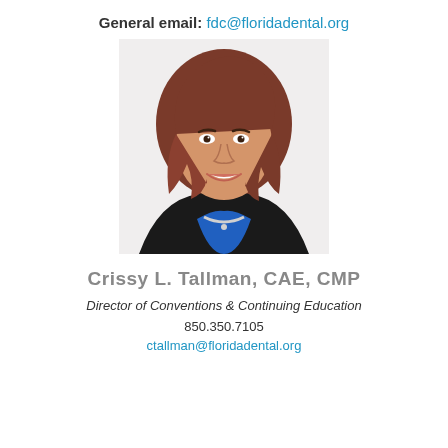General email: fdc@floridadental.org
[Figure (photo): Professional headshot of Crissy L. Tallman, a woman with medium-length auburn/brown hair, wearing a blue top and black blazer with a silver necklace, smiling against a white background.]
Crissy L. Tallman, CAE, CMP
Director of Conventions & Continuing Education
850.350.7105
ctallman@floridadental.org